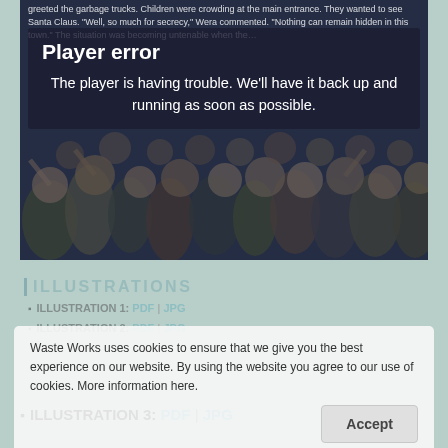[Figure (screenshot): Video player showing a cartoon crowd illustration with a 'Player error' overlay message. The error box reads: 'Player error' and 'The player is having trouble. We'll have it back up and running as soon as possible.' Partially visible text at top reads: 'greeted the garbage trucks. Children were crowding at the main entrance. They wanted to see Santa Claus. "Well, so much for secrecy," Wera commented. "Nothing can remain hidden in this town." The situation was becoming untenable when the...']
ILLUSTRATIONS
ILLUSTRATION 1: PDF | JPG
ILLUSTRATION 2: PDF | JPG
ILLUSTRATION 3: PDF | JPG
Waste Works uses cookies to ensure that we give you the best experience on our website. By using the website you agree to our use of cookies. More information here.